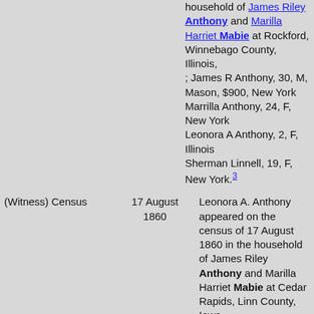household of James Riley Anthony and Marilla Harriet Mabie at Rockford, Winnebago County, Illinois, ; James R Anthony, 30, M, Mason, $900, New York Marrilla Anthony, 24, F, New York Leonora A Anthony, 2, F, Illinois Sherman Linnell, 19, F, New York.3
(Witness) Census
17 August 1860
Leonora A. Anthony appeared on the census of 17 August 1860 in the household of James Riley Anthony and Marilla Harriet Mabie at Cedar Rapids, Linn County, Iowa, ; James R Antony, 40, M, Mason, New York Marilla H Antony, 33, F,